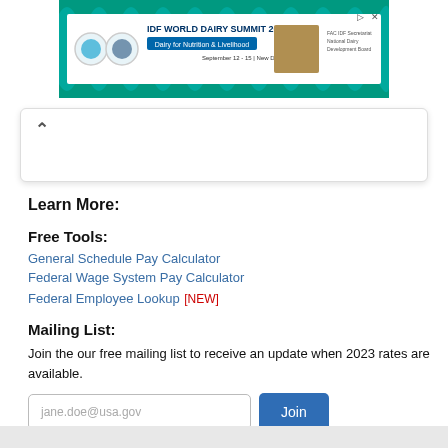[Figure (illustration): IDF World Dairy Summit 2022 advertisement banner with teal/blue stamp-style border, logos, and text reading 'IDF WORLD DAIRY SUMMIT 2022 Dairy for Nutrition & Livelihood September 12-15 | New Delhi, India']
Learn More:
Free Tools:
General Schedule Pay Calculator
Federal Wage System Pay Calculator
Federal Employee Lookup [NEW]
Mailing List:
Join the our free mailing list to receive an update when 2023 rates are available.